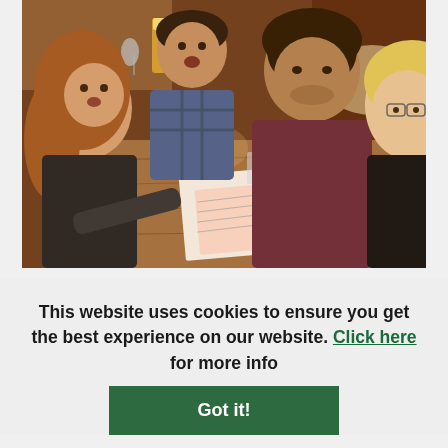[Figure (photo): Four people sitting around a wooden pub table, looking at quiz or bingo sheets by candlelight. Drinks on the table. Warm pub interior.]
This website uses cookies to ensure you get the best experience on our website. Click here for more info
Got it!